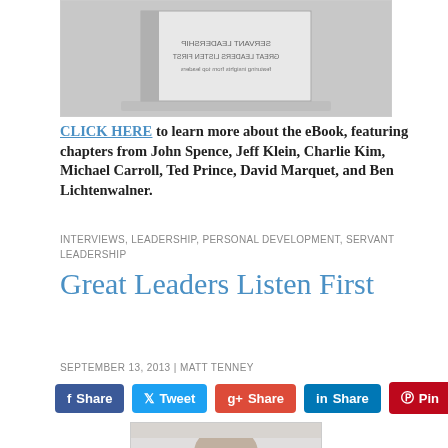[Figure (photo): Book cover image shown at an angle, black and white photograph]
CLICK HERE to learn more about the eBook, featuring chapters from John Spence, Jeff Klein, Charlie Kim, Michael Carroll, Ted Prince, David Marquet, and Ben Lichtenwalner.
INTERVIEWS, LEADERSHIP, PERSONAL DEVELOPMENT, SERVANT LEADERSHIP
Great Leaders Listen First
SEPTEMBER 13, 2013 | MATT TENNEY
Share  Tweet  Share  Share  Pin
[Figure (photo): Portrait photograph of a bald man from shoulders up]